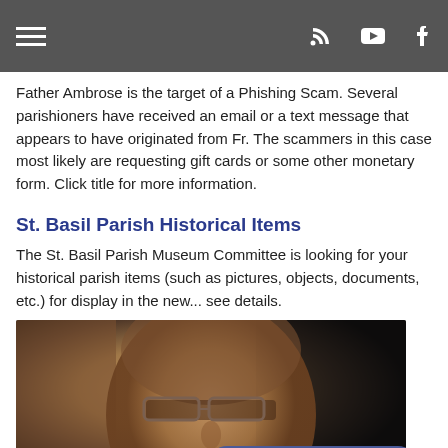Navigation bar with hamburger menu, RSS, YouTube, and Facebook icons
Father Ambrose is the target of a Phishing Scam. Several parishioners have received an email or a text message that appears to have originated from Fr. The scammers in this case most likely are requesting gift cards or some other monetary form. Click title for more information.
St. Basil Parish Historical Items
The St. Basil Parish Museum Committee is looking for your historical parish items (such as pictures, objects, documents, etc.) for display in the new... see details.
[Figure (photo): Close-up photo of a man wearing glasses, appearing to be a priest or parish member]